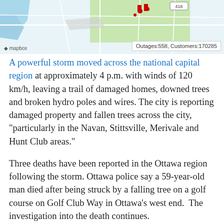[Figure (map): Mapbox map showing the national capital region with red markers indicating storm outages. A label in the bottom right reads 'Outages:558, Customers:170285'. The Mapbox watermark is visible in the bottom left.]
A powerful storm moved across the national capital region at approximately 4 p.m. with winds of 120 km/h, leaving a trail of damaged homes, downed trees and broken hydro poles and wires. The city is reporting damaged property and fallen trees across the city, "particularly in the Navan, Stittsville, Merivale and Hunt Club areas."
Three deaths have been reported in the Ottawa region following the storm. Ottawa police say a 59-year-old man died after being struck by a falling tree on a golf course on Golf Club Way in Ottawa's west end.  The investigation into the death continues.
A 51-year-old woman drowned after her boat capsized on the Ottawa River near Masson-Angers, Que.  In the Ottawa Valley, a 44-year-old man died after being struck